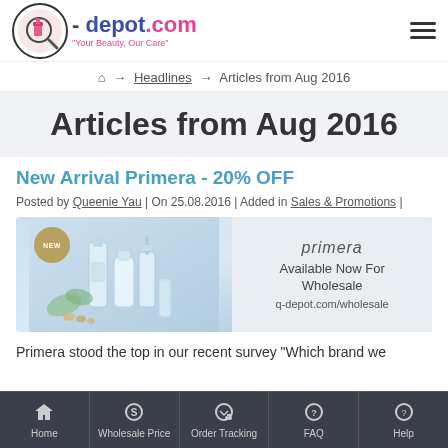q-depot.com - Your Beauty, Our Care
Home → Headlines → Articles from Aug 2016
Articles from Aug 2016
New Arrival Primera - 20% OFF
Posted by Queenie Yau | On 25.08.2016 | Added in Sales & Promotions |
[Figure (photo): Primera skincare product banner showing bottles with 'NEW' badge. Right side shows text: primera, Available Now For Wholesale, q-depot.com/wholesale]
Primera stood the top in our recent survey "Which brand we